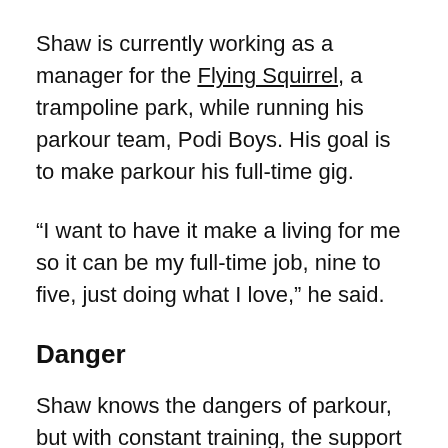Shaw is currently working as a manager for the Flying Squirrel, a trampoline park, while running his parkour team, Podi Boys. His goal is to make parkour his full-time gig.
“I want to have it make a living for me so it can be my full-time job, nine to five, just doing what I love,” he said.
Danger
Shaw knows the dangers of parkour, but with constant training, the support of his team and community, he has conditioned himself to